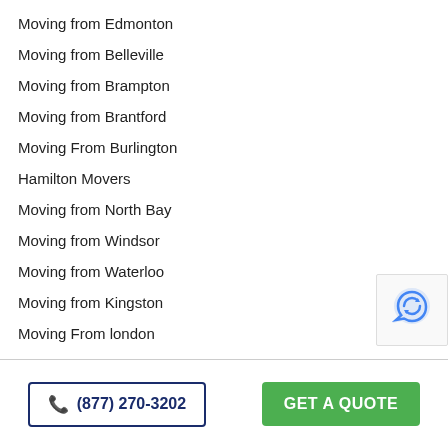Moving from Edmonton
Moving from Belleville
Moving from Brampton
Moving from Brantford
Moving From Burlington
Hamilton Movers
Moving from North Bay
Moving from Windsor
Moving from Waterloo
Moving from Kingston
Moving From london
Moving From Midland
(877) 270-3202
GET A QUOTE